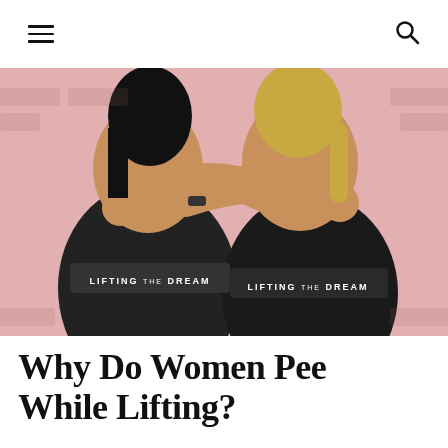Navigation header with hamburger menu and search icon
[Figure (photo): Two women seen from behind, wearing black tank tops that read 'LIFTING THE DREAM', arms around each other, standing against a pink brick wall.]
Why Do Women Pee While Lifting?